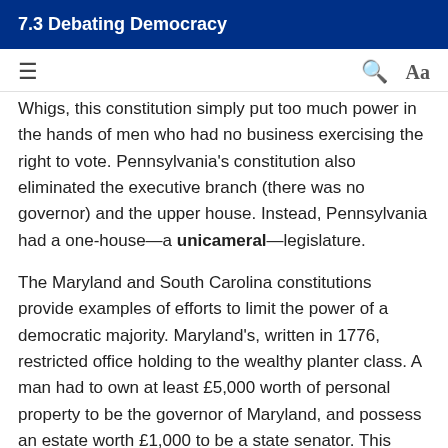7.3 Debating Democracy
Whigs, this constitution simply put too much power in the hands of men who had no business exercising the right to vote. Pennsylvania's constitution also eliminated the executive branch (there was no governor) and the upper house. Instead, Pennsylvania had a one-house—a unicameral—legislature.
The Maryland and South Carolina constitutions provide examples of efforts to limit the power of a democratic majority. Maryland's, written in 1776, restricted office holding to the wealthy planter class. A man had to own at least £5,000 worth of personal property to be the governor of Maryland, and possess an estate worth £1,000 to be a state senator. This latter qualification excluded over 90 percent of the White males in Maryland from political office. The 1778 South Carolina constitution also sought